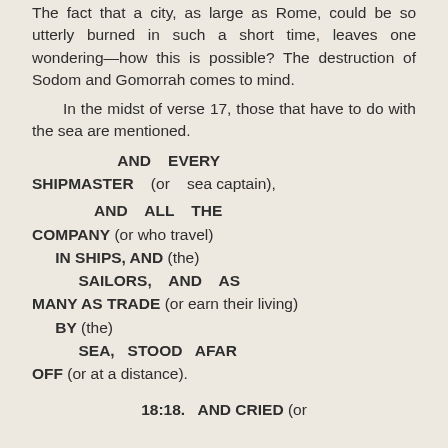The fact that a city, as large as Rome, could be so utterly burned in such a short time, leaves one wondering—how this is possible? The destruction of Sodom and Gomorrah comes to mind.
In the midst of verse 17, those that have to do with the sea are mentioned.
AND EVERY SHIPMASTER (or sea captain),
AND ALL THE COMPANY (or who travel) IN SHIPS, AND (the) SAILORS, AND AS MANY AS TRADE (or earn their living) BY (the) SEA, STOOD AFAR OFF (or at a distance).
18:18. AND CRIED (or